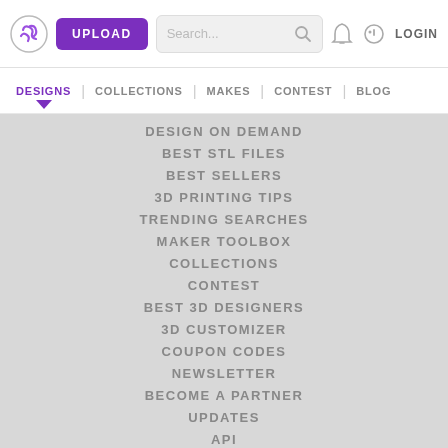UPLOAD | Search... | LOGIN
DESIGNS | COLLECTIONS | MAKES | CONTEST | BLOG
DESIGN ON DEMAND
BEST STL FILES
BEST SELLERS
3D PRINTING TIPS
TRENDING SEARCHES
MAKER TOOLBOX
COLLECTIONS
CONTEST
BEST 3D DESIGNERS
3D CUSTOMIZER
COUPON CODES
NEWSLETTER
BECOME A PARTNER
UPDATES
API
CONTACT
[Figure (illustration): Smiley face icon at the bottom of the menu]